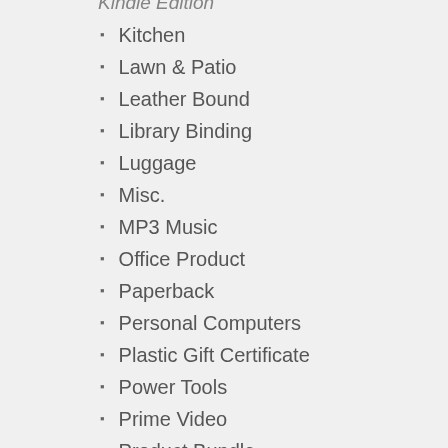Kitchen
Lawn & Patio
Leather Bound
Library Binding
Luggage
Misc.
MP3 Music
Office Product
Paperback
Personal Computers
Plastic Gift Certificate
Power Tools
Prime Video
Product Bundle
Ring-bound
Sander Reviews & Guide